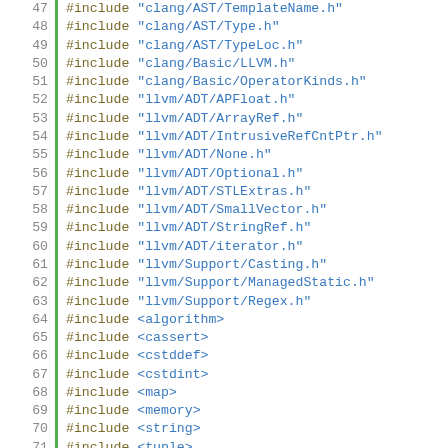Code listing lines 47-80: C++ header includes and namespace declarations
47  #include "clang/AST/TemplateName.h"
48  #include "clang/AST/Type.h"
49  #include "clang/AST/TypeLoc.h"
50  #include "clang/Basic/LLVM.h"
51  #include "clang/Basic/OperatorKinds.h"
52  #include "llvm/ADT/APFloat.h"
53  #include "llvm/ADT/ArrayRef.h"
54  #include "llvm/ADT/IntrusiveRefCntPtr.h"
55  #include "llvm/ADT/None.h"
56  #include "llvm/ADT/Optional.h"
57  #include "llvm/ADT/STLExtras.h"
58  #include "llvm/ADT/SmallVector.h"
59  #include "llvm/ADT/StringRef.h"
60  #include "llvm/ADT/iterator.h"
61  #include "llvm/Support/Casting.h"
62  #include "llvm/Support/ManagedStatic.h"
63  #include "llvm/Support/Regex.h"
64  #include <algorithm>
65  #include <cassert>
66  #include <cstddef>
67  #include <cstdint>
68  #include <map>
69  #include <memory>
70  #include <string>
71  #include <tuple>
72  #include <type_traits>
73  #include <utility>
74  #include <vector>
75
76  namespace clang {
77
78  class ASTContext;
79
80  namespace ast_matchers {